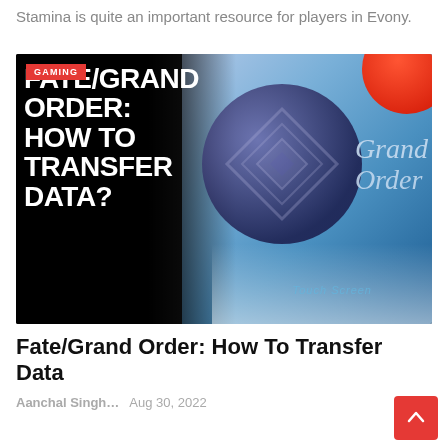Stamina is quite an important resource for players in Evony.
[Figure (screenshot): Article thumbnail image for 'Fate/Grand Order: How To Transfer Data?' showing bold white text on dark background with the Fate/Grand Order game logo, sphere, and blue sky backdrop. A red 'GAMING' badge is in the top left corner.]
Fate/Grand Order: How To Transfer Data
Aanchal Singh...   Aug 30, 2022